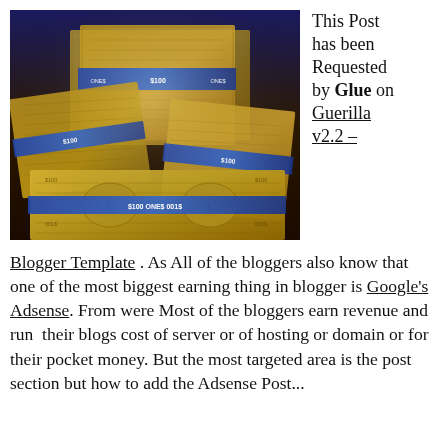[Figure (photo): Stack of US $100 dollar bills bundled with blue paper bands, photographed close-up against a dark blue background with warm golden lighting.]
This Post has been Requested by Glue on Guerilla v2.2 – Blogger Template . As All of the bloggers also know that one of the most biggest earning thing in blogger is Google's Adsense. From were Most of the bloggers earn revenue and run  their blogs cost of server or of hosting or domain or for their pocket money. But the most targeted area is the post section but how to add the Adsense Post...